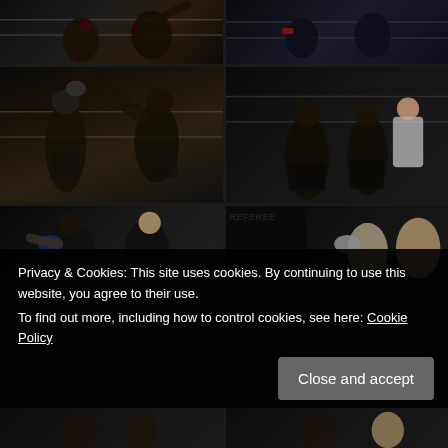[Figure (photo): Two Muay Thai / kickboxing fighters in a dark arena ring, one fighter delivering a kick, ring ropes visible, taken from ringside]
[Figure (photo): Two fighters in a boxing/kickboxing ring with red and black wraps, audience and lighting visible in background]
[Figure (photo): Fighter executing a high kick against opponent in Muay Thai match, dark arena, both wearing dark shorts, ringside crowd visible]
[Figure (photo): Two fighters standing in ring from behind with referee/official in white shirt observing, dark arena setting]
[Figure (photo): Two Muay Thai fighters exchanging punches/blocks, one wearing blue gloves, dark arena background]
[Figure (photo): Referee in black shirt marked REFEREE separating or overseeing two fighters, one fighter wearing silver gloves]
[Figure (photo): Partial view of boxing/Muay Thai fighters at bottom of page, dark arena]
[Figure (photo): Partial view of boxing/Muay Thai fighters at bottom right of page, dark arena]
Privacy & Cookies: This site uses cookies. By continuing to use this website, you agree to their use.
To find out more, including how to control cookies, see here: Cookie Policy
Close and accept